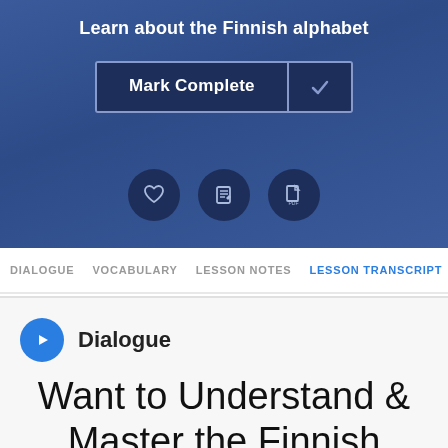Learn about the Finnish alphabet
[Figure (screenshot): Mark Complete button with checkmark icon]
[Figure (infographic): Three icon buttons: heart/favorites, notes/edit, PDF download]
DIALOGUE   VOCABULARY   LESSON NOTES   LESSON TRANSCRIPT
Dialogue
Want to Understand & Master the Finnish Dialogue 100%?